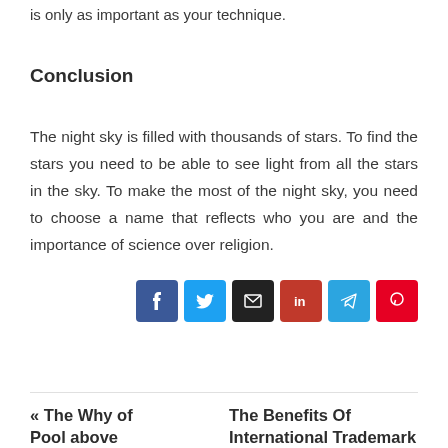is only as important as your technique.
Conclusion
The night sky is filled with thousands of stars. To find the stars you need to be able to see light from all the stars in the sky. To make the most of the night sky, you need to choose a name that reflects who you are and the importance of science over religion.
[Figure (other): Social share buttons: Facebook, Twitter, Email, LinkedIn, Telegram, Pinterest]
« The Why of Pool above   The Benefits Of International Trademark